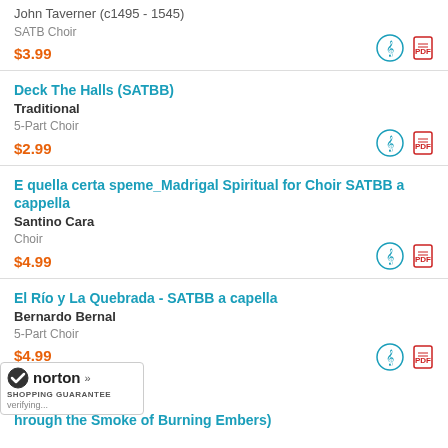John Taverner (c1495 - 1545)
SATB Choir
$3.99
Deck The Halls (SATBB)
Traditional
5-Part Choir
$2.99
E quella certa speme_Madrigal Spiritual for Choir SATBB a cappella
Santino Cara
Choir
$4.99
El Río y La Quebrada - SATBB a capella
Bernardo Bernal
5-Part Choir
$4.99
...hrough the Smoke of Burning Embers)